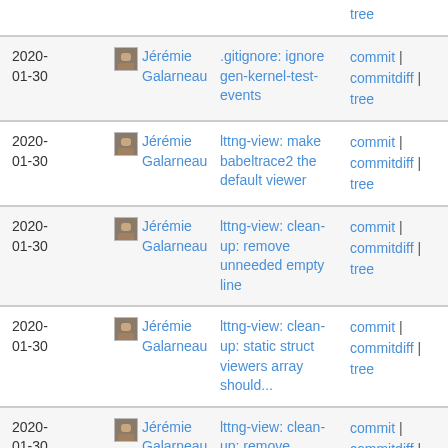| Date | Author | Commit message | Links |
| --- | --- | --- | --- |
|  |  | tree |  |
| 2020-01-30 | Jérémie Galarneau | .gitignore: ignore gen-kernel-test-events | commit | commitdiff | tree |
| 2020-01-30 | Jérémie Galarneau | lttng-view: make babeltrace2 the default viewer | commit | commitdiff | tree |
| 2020-01-30 | Jérémie Galarneau | lttng-view: clean-up: remove unneeded empty line | commit | commitdiff | tree |
| 2020-01-30 | Jérémie Galarneau | lttng-view: clean-up: static struct viewers array should... | commit | commitdiff | tree |
| 2020-01-30 | Jérémie Galarneau | lttng-view: clean-up: remove commented and unused references... | commit | commitdiff | tree |
| 2020-01-30 | Jérémie Galarneau | relayd: register fd tracker instance to all created... | commit | commitdiff | tree |
| 2020- | Jérémie | relayd: track relayd control... | commit | |